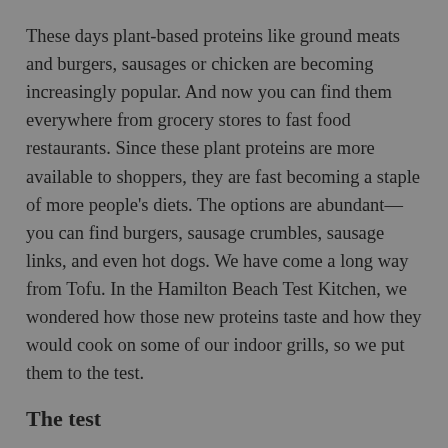These days plant-based proteins like ground meats and burgers, sausages or chicken are becoming increasingly popular. And now you can find them everywhere from grocery stores to fast food restaurants. Since these plant proteins are more available to shoppers, they are fast becoming a staple of more people's diets. The options are abundant—you can find burgers, sausage crumbles, sausage links, and even hot dogs. We have come a long way from Tofu. In the Hamilton Beach Test Kitchen, we wondered how those new proteins taste and how they would cook on some of our indoor grills, so we put them to the test.
The test
In our local supermarkets we found three plant-based protein brands: Beyond Burger, Impossible Burger and Light Life. To make it fair, we made all proteins into 4-ounce